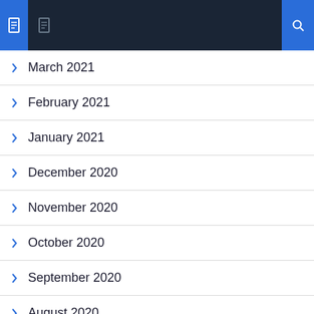Navigation header with icons
March 2021
February 2021
January 2021
December 2020
November 2020
October 2020
September 2020
August 2020
July 2020
April 2020